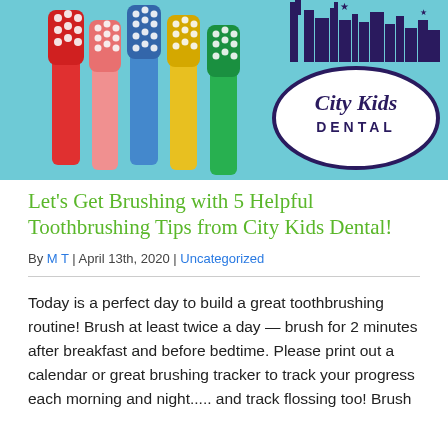[Figure (photo): Photo of colorful toothbrushes (red, pink, blue, yellow, green) on a light blue background, with City Kids Dental logo (dark blue/purple city skyline over an oval with 'City Kids Dental' text) in the upper right.]
Let's Get Brushing with 5 Helpful Toothbrushing Tips from City Kids Dental!
By M T | April 13th, 2020 | Uncategorized
Today is a perfect day to build a great toothbrushing routine! Brush at least twice a day — brush for 2 minutes after breakfast and before bedtime. Please print out a calendar or great brushing tracker to track your progress each morning and night..... and track flossing too! Brush